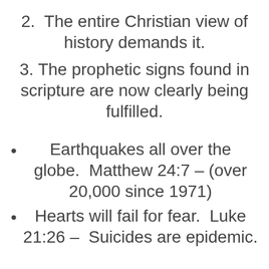2.  The entire Christian view of history demands it.
3. The prophetic signs found in scripture are now clearly being fulfilled.
Earthquakes all over the globe.  Matthew 24:7 – (over 20,000 since 1971)
Hearts will fail for fear.  Luke 21:26 –  Suicides are epidemic.